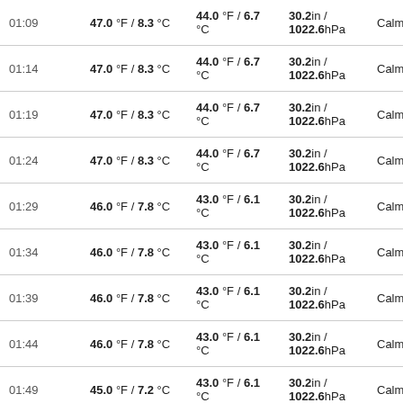| Time | Temp | Dew Point | Pressure | Wind |
| --- | --- | --- | --- | --- |
| 01:09 | 47.0 °F / 8.3 °C | 44.0 °F / 6.7 °C | 30.2in / 1022.6hPa | Calm |
| 01:14 | 47.0 °F / 8.3 °C | 44.0 °F / 6.7 °C | 30.2in / 1022.6hPa | Calm |
| 01:19 | 47.0 °F / 8.3 °C | 44.0 °F / 6.7 °C | 30.2in / 1022.6hPa | Calm |
| 01:24 | 47.0 °F / 8.3 °C | 44.0 °F / 6.7 °C | 30.2in / 1022.6hPa | Calm |
| 01:29 | 46.0 °F / 7.8 °C | 43.0 °F / 6.1 °C | 30.2in / 1022.6hPa | Calm |
| 01:34 | 46.0 °F / 7.8 °C | 43.0 °F / 6.1 °C | 30.2in / 1022.6hPa | Calm |
| 01:39 | 46.0 °F / 7.8 °C | 43.0 °F / 6.1 °C | 30.2in / 1022.6hPa | Calm |
| 01:44 | 46.0 °F / 7.8 °C | 43.0 °F / 6.1 °C | 30.2in / 1022.6hPa | Calm |
| 01:49 | 45.0 °F / 7.2 °C | 43.0 °F / 6.1 °C | 30.2in / 1022.6hPa | Calm |
| 01:54 | 45.0 °F / 7.2 °C | 43.0 °F / 6.1 °C | 30.2in / 1022.6hPa | Calm |